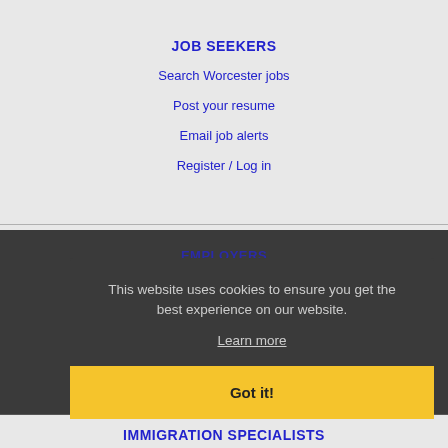JOB SEEKERS
Search Worcester jobs
Post your resume
Email job alerts
Register / Log in
EMPLOYERS
This website uses cookies to ensure you get the best experience on our website.
Learn more
Email resume alerts
Advertise
Got it!
IMMIGRATION SPECIALISTS